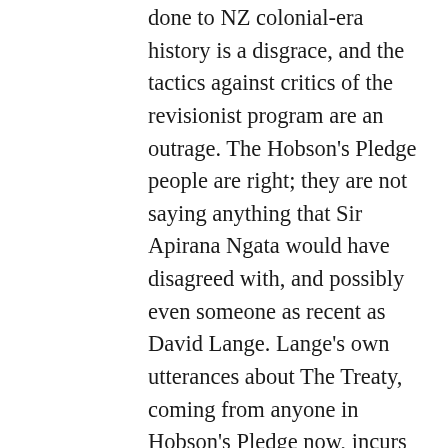done to NZ colonial-era history is a disgrace, and the tactics against critics of the revisionist program are an outrage. The Hobson's Pledge people are right; they are not saying anything that Sir Apirana Ngata would have disagreed with, and possibly even someone as recent as David Lange. Lange's own utterances about The Treaty, coming from anyone in Hobson's Pledge now, incurs charges of “racist right-winger”. In fact what we are up against is a monster that has been created with far too much power, power to just make things up as it goes and then steamroller any opposition,